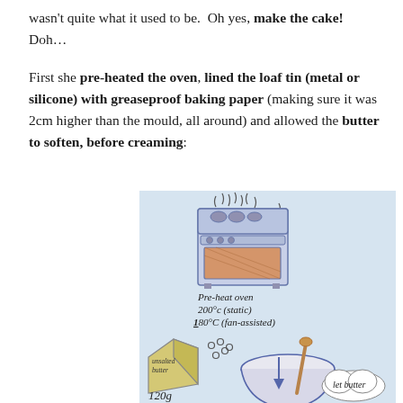wasn't quite what it used to be.  Oh yes, make the cake! Doh...
First she pre-heated the oven, lined the loaf tin (metal or silicone) with greaseproof baking paper (making sure it was 2cm higher than the mould, all around) and allowed the butter to soften, before creaming:
[Figure (illustration): Hand-drawn illustration on light blue background showing: a cooker/oven at the top with steam lines, labeled 'Pre-heat oven 200°c (static) 180°C (fan-assisted)'. Below is a block of 'unsalted butter' (120g), small circles representing sugar/salt, and a mixing bowl with a wooden spoon and an arrow pointing down. Text reads 'let butter' on the right side.]